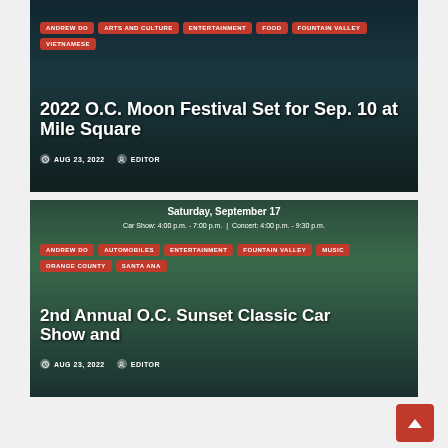[Figure (screenshot): Article card 1: 2022 O.C. Moon Festival Set for Sep. 10 at Mile Square. Tags: ANDREW DO, ARTS AND CULTURE, ENTERTAINMENT, FOOD, FOUNTAIN VALLEY, VIETNAMESE. Date: AUG 23, 2022. Author: EDITOR.]
[Figure (screenshot): Article card 2: 2nd Annual O.C. Sunset Classic Car Show and [Concert]. Tags: ANDREW DO, AUTOMOBILES, ENTERTAINMENT, FOUNTAIN VALLEY, MUSIC, ORANGE COUNTY, SANTA ANA. Date: AUG 23, 2022. Author: EDITOR. Saturday, September 17. Car Show: 4:00 p.m. - 7:00 p.m. | Concert: 4:00 p.m. - 9:30 p.m.]